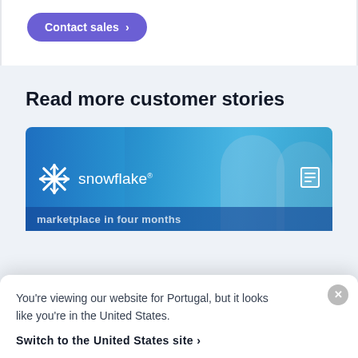[Figure (other): Contact sales button with purple rounded pill shape]
Read more customer stories
[Figure (photo): Snowflake branded card with photo of two people in a data center, blue overlay, snowflake logo, and document icon]
You're viewing our website for Portugal, but it looks like you're in the United States.
Switch to the United States site >